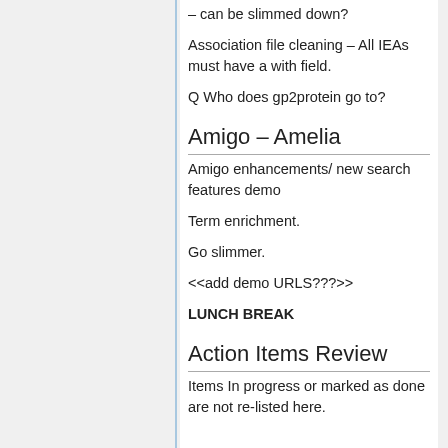– can be slimmed down?
Association file cleaning – All IEAs must have a with field.
Q Who does gp2protein go to?
Amigo – Amelia
Amigo enhancements/ new search features demo
Term enrichment.
Go slimmer.
<<add demo URLS???>>
LUNCH BREAK
Action Items Review
Items In progress or marked as done are not re-listed here.